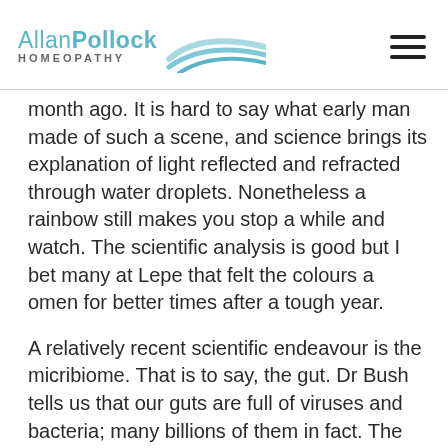Allan Pollock Homeopathy
month ago. It is hard to say what early man made of such a scene, and science brings its explanation of light reflected and refracted through water droplets. Nonetheless a rainbow still makes you stop a while and watch. The scientific analysis is good but I bet many at Lepe that felt the colours a omen for better times after a tough year.
A relatively recent scientific endeavour is the micribiome. That is to say, the gut. Dr Bush tells us that our guts are full of viruses and bacteria; many billions of them in fact. The same is true